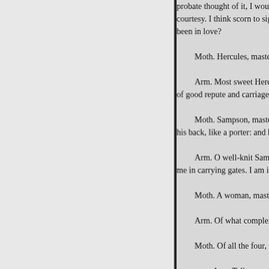probate thought of it, I would tak courtesy. I think scorn to sigh; m been in love?

Moth. Hercules, master.

Arm. Most sweet Hercules!-M of good repute and carriage.

Moth. Sampson, master: he w his back, like a porter: and he wa

Arm. O well-knit Sampson! st me in carrying gates. I am in lov

Moth. A woman, master.

Arm. Of what complexion?

Moth. Of all the four, or the th

Arm. Tell me precisely of w Moth. Of the sea-water gree Arm. Is that one of the four Moth. As I have read, sir; a

too.